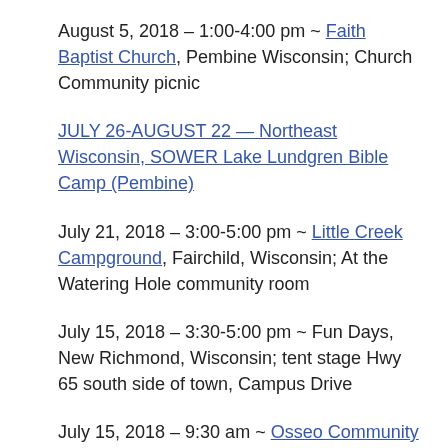August 5, 2018 – 1:00-4:00 pm ~ Faith Baptist Church, Pembine Wisconsin; Church Community picnic
JULY 26-AUGUST 22 — Northeast Wisconsin, SOWER Lake Lundgren Bible Camp (Pembine)
July 21, 2018 – 3:00-5:00 pm ~ Little Creek Campground, Fairchild, Wisconsin; At the Watering Hole community room
July 15, 2018 – 3:30-5:00 pm ~ Fun Days, New Richmond, Wisconsin; tent stage Hwy 65 south side of town, Campus Drive
July 15, 2018 – 9:30 am ~ Osseo Community Church, W155 49 Gilburt Road, Osseo, Wisconsin